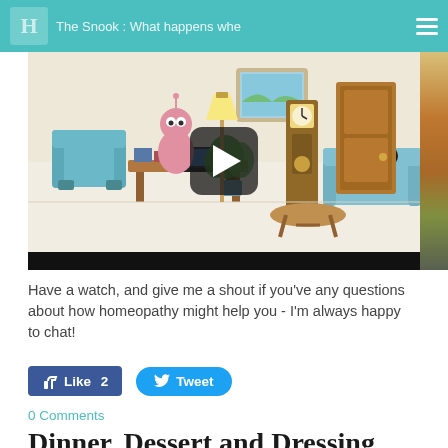H The Snook - What happens whe...
[Figure (screenshot): Animated video thumbnail showing a cartoon scene with a pink character at a desk, blue armchair, lamp, plant, grandfather clock, door, and a large play button overlay. Bottom portion has a black bar.]
Have a watch, and give me a shout if you've any questions about how homeopathy might help you - I'm always happy to chat!
[Figure (other): Facebook Like button showing 'Like 2' and Twitter Tweet button]
0 Comments
Dinner, Dessert and Dressing